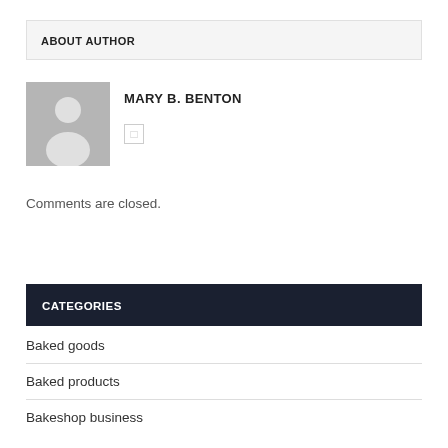ABOUT AUTHOR
[Figure (illustration): Default user avatar placeholder - grey silhouette of a person on grey background]
MARY B. BENTON
Comments are closed.
CATEGORIES
Baked goods
Baked products
Bakeshop business